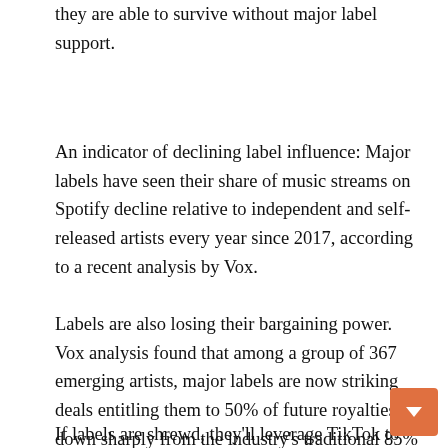they are able to survive without major label support.
An indicator of declining label influence: Major labels have seen their share of music streams on Spotify decline relative to independent and self-released artists every year since 2017, according to a recent analysis by Vox.
Labels are also losing their bargaining power. Vox analysis found that among a group of 367 emerging artists, major labels are now striking deals entitling them to 50% of future royalties, down sharply from the industry's traditional 85% share.
If labels are shrewd, they'll leverage TikTok to